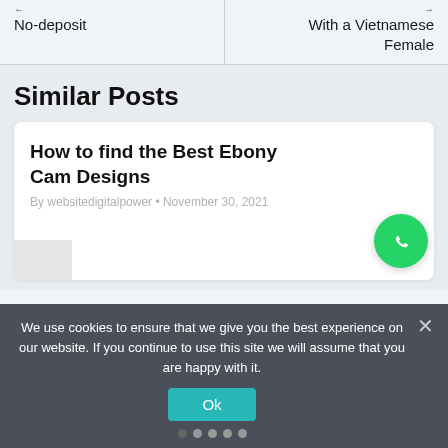No-deposit
With a Vietnamese Female
Similar Posts
How to find the Best Ebony Cam Designs
By websitedigitalpower • November 30, 2021
We use cookies to ensure that we give you the best experience on our website. If you continue to use this site we will assume that you are happy with it.